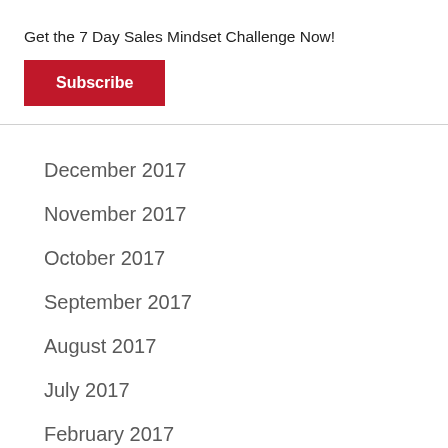Get the 7 Day Sales Mindset Challenge Now!
Subscribe
×
December 2017
November 2017
October 2017
September 2017
August 2017
July 2017
February 2017
January 2017
November 2016